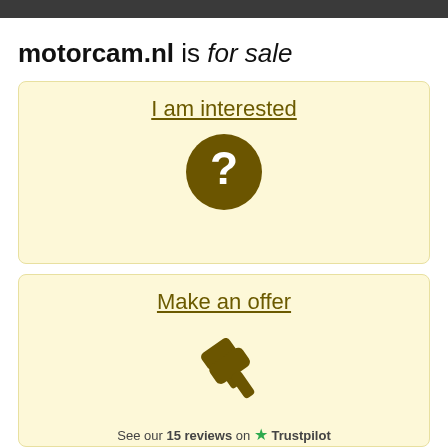motorcam.nl is for sale
[Figure (other): Yellow card with 'I am interested' link and a dark olive circle with a white question mark icon]
[Figure (other): Yellow card with 'Make an offer' link and a dark olive gavel/auction hammer icon]
See our 15 reviews on ★ Trustpilot